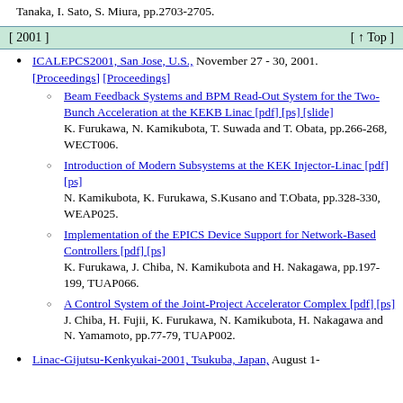Tanaka, I. Sato, S. Miura, pp.2703-2705.
[ 2001 ]   [ ↑ Top ]
ICALEPCS2001, San Jose, U.S., November 27 - 30, 2001. [Proceedings] [Proceedings]
Beam Feedback Systems and BPM Read-Out System for the Two-Bunch Acceleration at the KEKB Linac [pdf] [ps] [slide]
K. Furukawa, N. Kamikubota, T. Suwada and T. Obata, pp.266-268, WECT006.
Introduction of Modern Subsystems at the KEK Injector-Linac [pdf] [ps]
N. Kamikubota, K. Furukawa, S.Kusano and T.Obata, pp.328-330, WEAP025.
Implementation of the EPICS Device Support for Network-Based Controllers [pdf] [ps]
K. Furukawa, J. Chiba, N. Kamikubota and H. Nakagawa, pp.197-199, TUAP066.
A Control System of the Joint-Project Accelerator Complex [pdf] [ps]
J. Chiba, H. Fujii, K. Furukawa, N. Kamikubota, H. Nakagawa and N. Yamamoto, pp.77-79, TUAP002.
Linac-Gijutsu-Kenkyukai-2001, Tsukuba, Japan, August 1-